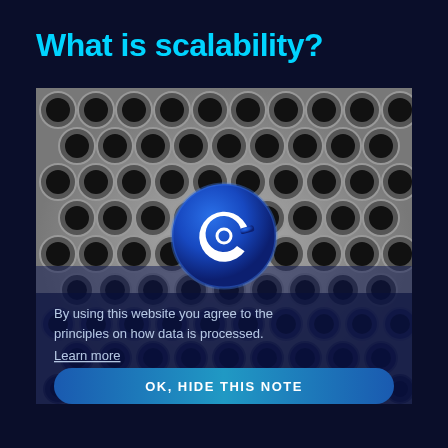What is scalability?
[Figure (screenshot): Screenshot of a cryptocurrency/blockchain website showing a cookie consent overlay. Background shows a photo of metal pipes/tubes viewed end-on in black and white. A blue circular logo with a stylized 'C' icon is centered. A semi-transparent dark blue overlay covers the lower portion with a cookie notice text and an 'OK, HIDE THIS NOTE' button. At the bottom are tab labels 'block time' and 'blockchain trilemma'.]
By using this website you agree to the principles on how data is processed. Learn more
OK, HIDE THIS NOTE
block time
blockchain trilemma